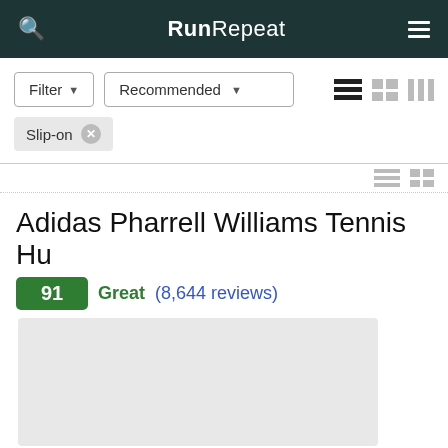RunRepeat
Filter  Recommended
Slip-on ×
Adidas Pharrell Williams Tennis Hu
91  Great  (8,644 reviews)
[Figure (photo): Light gray placeholder box for product image]